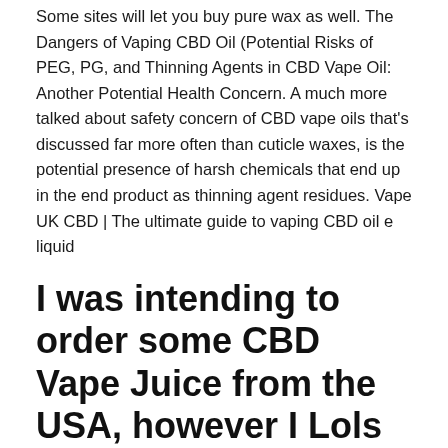Some sites will let you buy pure wax as well. The Dangers of Vaping CBD Oil (Potential Risks of PEG, PG, and Thinning Agents in CBD Vape Oil: Another Potential Health Concern. A much more talked about safety concern of CBD vape oils that's discussed far more often than cuticle waxes, is the potential presence of harsh chemicals that end up in the end product as thinning agent residues. Vape UK CBD | The ultimate guide to vaping CBD oil e liquid
I was intending to order some CBD Vape Juice from the USA, however I Lols – "Eternal Plants ship CBD Oil directly to Australia from Japan.
The Dangers of Vaping CBD Oil (Potential Risks of PEG, PG, and Thinning Agents in CBD Vape Oil: Another Potential Health Concern. A much more talked about safety concern of